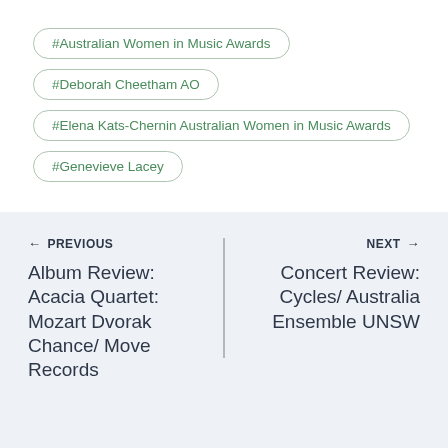#Australian Women in Music Awards
#Deborah Cheetham AO
#Elena Kats-Chernin Australian Women in Music Awards
#Genevieve Lacey
← PREVIOUS
Album Review: Acacia Quartet: Mozart Dvorak Chance/ Move Records
NEXT →
Concert Review: Cycles/ Australia Ensemble UNSW